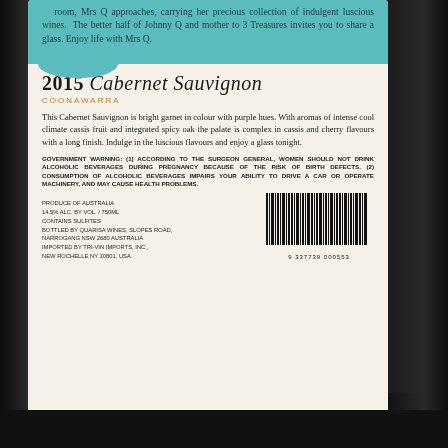room, Mrs Q approaches, carrying her precious collection of indulgent luscious wines. The better half of Johnny Q and mother to 3 Treasures invites you to share a glass. Enjoy life with Mrs Q.
2015 Cabernet Sauvignon
COONAWARRA
This Cabernet Sauvignon is bright garnet in colour with purple hues. With aromas of intense cool climate cassis fruit and integrated spicy oak the palate is complex in cassis and cherry flavours with a long finish. Indulge in the luscious flavours and enjoy a glass tonight.
GOVERNMENT WARNING: (1) ACCORDING TO THE SURGEON GENERAL, WOMEN SHOULD NOT DRINK ALCOHOLIC BEVERAGES DURING PREGNANCY BECAUSE OF THE RISK OF BIRTH DEFECTS. (2) CONSUMPTION OF ALCOHOLIC BEVERAGES IMPAIRS YOUR ABILITY TO DRIVE A CAR OR OPERATE MACHINERY, AND MAY CAUSE HEALTH PROBLEMS.
PRODUCE OF AUSTRALIA
14.5% ALC. BY VOL. / 750ML
CONTAINS SULFITES
BOTTLED BY QUARISA WINES, SLOPES ROAD,
NARROGANG NSW 2680 AUSTRALIA
IMPORTED BY TRI-VIN IMPORTS, INC.,
NEW ROCHELLE NY 10801, USA
[Figure (other): Barcode with number 9 337739 000553]